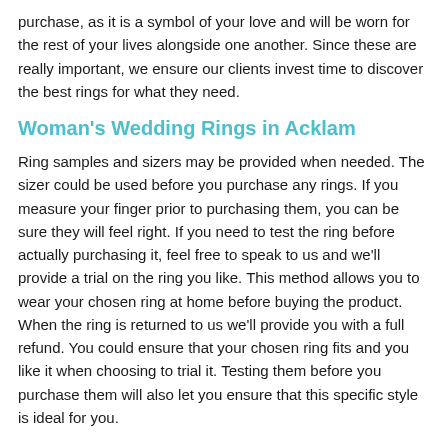purchase, as it is a symbol of your love and will be worn for the rest of your lives alongside one another. Since these are really important, we ensure our clients invest time to discover the best rings for what they need.
Woman's Wedding Rings in Acklam
Ring samples and sizers may be provided when needed. The sizer could be used before you purchase any rings. If you measure your finger prior to purchasing them, you can be sure they will feel right. If you need to test the ring before actually purchasing it, feel free to speak to us and we'll provide a trial on the ring you like. This method allows you to wear your chosen ring at home before buying the product. When the ring is returned to us we'll provide you with a full refund. You could ensure that your chosen ring fits and you like it when choosing to trial it. Testing them before you purchase them will also let you ensure that this specific style is ideal for you.
As well as bridal bands, you may also purchase engagement and eternity rings from our store. Several styles we offer for women consist of claw rings, twisted bands, solitaire styles and much more. You could also consider a variety of shapes. Princess cuts